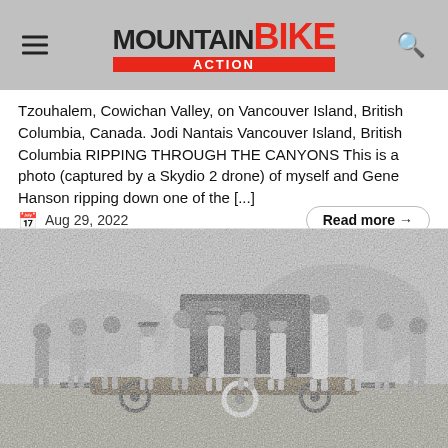Mountain Bike Action
Tzouhalem, Cowichan Valley, on Vancouver Island, British Columbia, Canada. Jodi Nantais Vancouver Island, British Columbia RIPPING THROUGH THE CANYONS This is a photo (captured by a Skydio 2 drone) of myself and Gene Hanson ripping down one of the [...]
Aug 29, 2022
Read more →
[Figure (photo): Black and white group photo of approximately 14 people standing outdoors in front of a truck, posing with a large log on a wheeled cart. Appears to be from the 1980s, mountain landscape in background.]